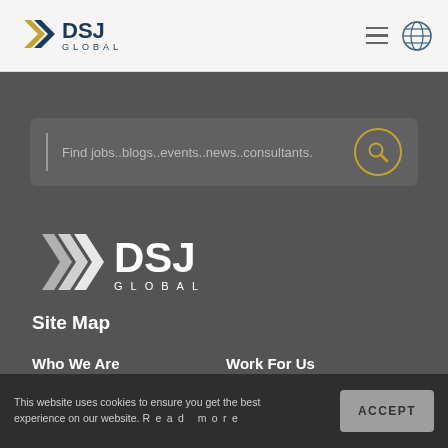[Figure (logo): DSJ Global logo in color (gold and navy chevron arrows with DSJ GLOBAL text) in top navigation bar]
[Figure (screenshot): Hamburger menu icon (three horizontal lines) and globe/language icon in top right of navigation bar]
[Figure (screenshot): Search bar with placeholder text 'Find jobs..blogs..events..news..consultants.' and gold circle search button]
[Figure (logo): DSJ Global logo in white/grey on dark background - large version in footer area]
Site Map
Who We Are
Work For Us
Our Expertise...
Disciplines...
This website uses cookies to ensure you get the best experience on our website. Read more
ACCEPT